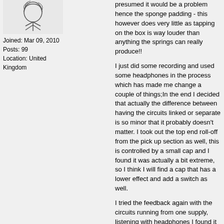[Figure (illustration): Avatar illustration of a person]
Joined: Mar 09, 2010
Posts: 99
Location: United Kingdom
presumed it would be a problem hence the sponge padding - this however does very little as tapping on the box is way louder than anything the springs can really produce!!
I just did some recording and used some headphones in the process which has made me change a couple of things;In the end I decided that actually the difference between having the circuits linked or separate is so minor that it probably doesn't matter. I took out the top end roll-off from the pick up section as well, this is controlled by a small cap and I found it was actually a bit extreme, so I think I will find a cap that has a lower effect and add a switch as well.
I tried the feedback again with the circuits running from one supply, listening with headphones I found it sounded a lot better than I thought and does seem to affect the tail to an extent before it goes into oscillation, I did record this but Logic balls'd it up somehow
this recording shows the sound first with two separate circuits and then with them linked together (recorded with a homemade mic, the noise at the end was caused by me)
http://soundcloud.com/aidantaylor/reverb-test
I will have a new one on for the 1242 side...